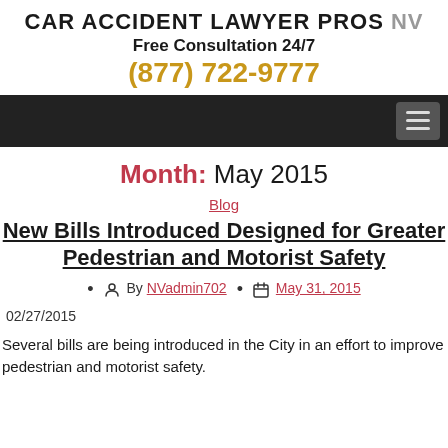CAR ACCIDENT LAWYER PROS NV
Free Consultation 24/7
(877) 722-9777
[Figure (other): Navigation bar with dark background and hamburger menu icon on the right]
Month: May 2015
Blog
New Bills Introduced Designed for Greater Pedestrian and Motorist Safety
By NVadmin702 · May 31, 2015
02/27/2015
Several bills are being introduced in the City in an effort to improve pedestrian and motorist safety.